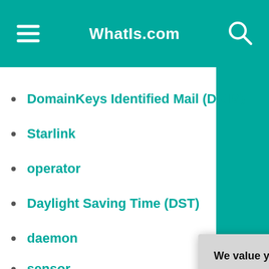WhatIs.com
DomainKeys Identified Mail (DKIM)
Starlink
operator
Daylight Saving Time (DST)
daemon
sensor
tailgating (pig…
-ADS BY GOOGLE
We value your privacy. TechTarget and its partners employ cookies to improve your experience on our site, to analyze traffic and performance, and to serve personalized content and advertising that are relevant to your professional interests. You can manage your settings at any time. Please view our Privacy Policy for more information
OK
Settings